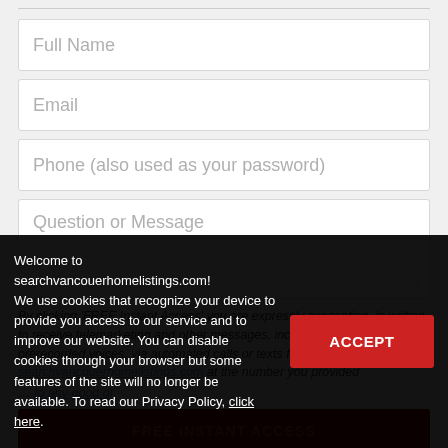Full Name
Email
Phone (also used as your password)
Question or Message
By clicking 'FREE Instant Access' you are expressly consenting, in writing, to receive telemarketing and other messages, including artificial or prerecorded voices, via automated calls or texts from searchvancouerhomelistings.com at the number you provided...
Welcome to searchvancouerhomelistings.com! We use cookies that recognize your device to provide you access to our service and to improve our website. You can disable cookies through your browser but some features of the site will no longer be available. To read our Privacy Policy, click here.